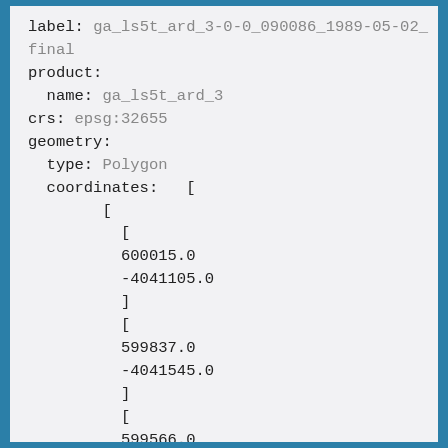label: ga_ls5t_ard_3-0-0_090086_1989-05-02_final
product:
  name: ga_ls5t_ard_3
crs: epsg:32655
geometry:
  type: Polygon
  coordinates:   [
        [
          [
          600015.0
          -4041105.0
          ]
          [
          599837.0
          -4041545.0
          ]
          [
          599566.0
          -4041477.0